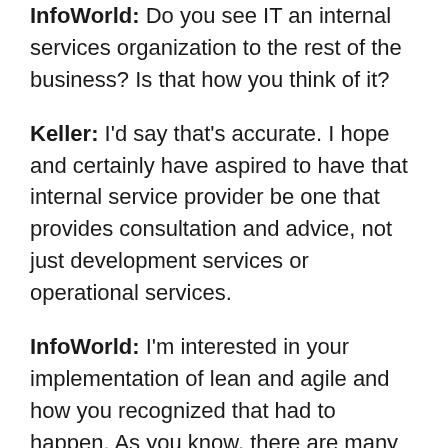InfoWorld: Do you see IT an internal services organization to the rest of the business? Is that how you think of it?
Keller: I'd say that's accurate. I hope and certainly have aspired to have that internal service provider be one that provides consultation and advice, not just development services or operational services.
InfoWorld: I'm interested in your implementation of lean and agile and how you recognized that had to happen. As you know, there are many organizations that talk the talk, but they've just solidified the agile methodology into something that ends up resembling waterfall more than